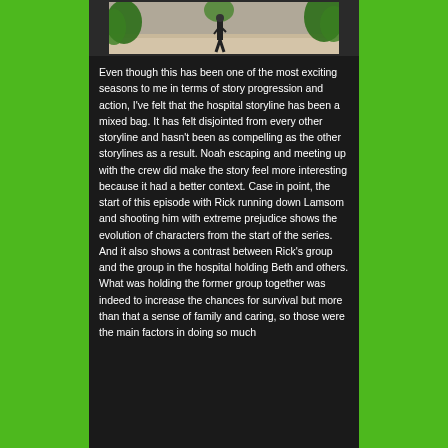[Figure (photo): A photograph showing a person walking on sandy ground with green foliage visible in the background]
Even though this has been one of the most exciting seasons to me in terms of story progression and action, I've felt that the hospital storyline has been a mixed bag. It has felt disjointed from every other storyline and hasn't been as compelling as the other storylines as a result. Noah escaping and meeting up with the crew did make the story feel more interesting because it had a better context. Case in point, the start of this episode with Rick running down Lamsom and shooting him with extreme prejudice shows the evolution of characters from the start of the series. And it also shows a contrast between Rick's group and the group in the hospital holding Beth and others. What was holding the former group together was indeed to increase the chances for survival but more than that a sense of family and caring, so those were the main factors in doing so much